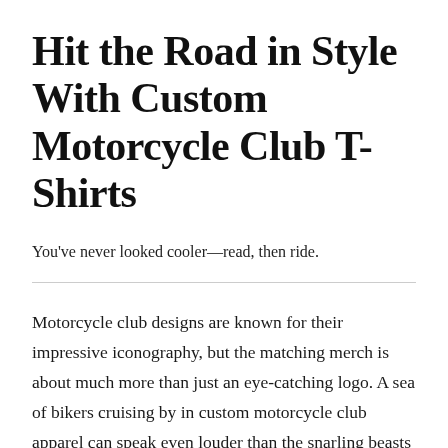Hit the Road in Style With Custom Motorcycle Club T-Shirts
You've never looked cooler—read, then ride.
Motorcycle club designs are known for their impressive iconography, but the matching merch is about much more than just an eye-catching logo. A sea of bikers cruising by in custom motorcycle club apparel can speak even louder than the snarling beasts they're perched on and leave an impact long after the engine's roar has